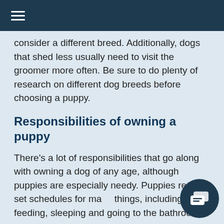≡
consider a different breed. Additionally, dogs that shed less usually need to visit the groomer more often. Be sure to do plenty of research on different dog breeds before choosing a puppy.
Responsibilities of owning a puppy
There's a lot of responsibilities that go along with owning a dog of any age, although puppies are especially needy. Puppies require set schedules for many things, including feeding, sleeping and going to the bathroom.